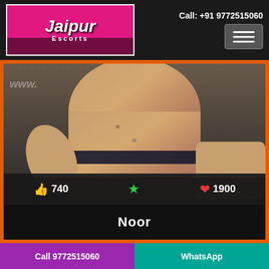Call: +91 9772515060
[Figure (logo): Jaipur Escorts logo with pink background and city skyline silhouette]
[Figure (photo): Photo of a woman's torso with watermark text 'www.' partially visible]
740  ★  1900
Noor
[Figure (photo): Second photo with AVAILABLE NOW badge in red]
Call 9772515060
WhatsApp